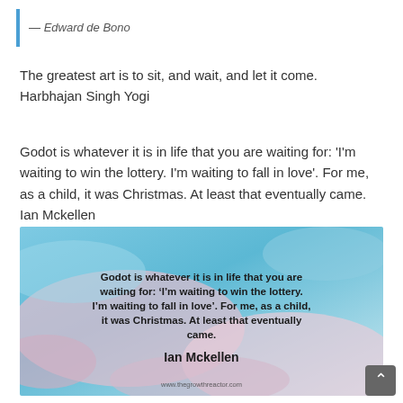— Edward de Bono
The greatest art is to sit, and wait, and let it come. Harbhajan Singh Yogi
Godot is whatever it is in life that you are waiting for: 'I'm waiting to win the lottery. I'm waiting to fall in love'. For me, as a child, it was Christmas. At least that eventually came. Ian Mckellen
[Figure (photo): Sky with clouds background image containing bold quote text: 'Godot is whatever it is in life that you are waiting for: ‘I’m waiting to win the lottery. I’m waiting to fall in love’. For me, as a child, it was Christmas. At least that eventually came.' with attribution 'Ian Mckellen' and watermark 'www.thegrowthreactor.com']